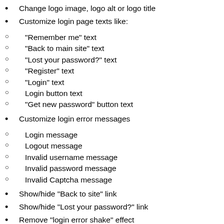Change logo image, logo alt or logo title
Customize login page texts like:
“Remember me” text
“Back to main site” text
“Lost your password?” text
“Register” text
“Login” text
Login button text
“Get new password” button text
Customize login error messages
Login message
Logout message
Invalid username message
Invalid password message
Invalid Captcha message
Show/hide “Back to site” link
Show/hide “Lost your password?” link
Remove “login error shake” effect